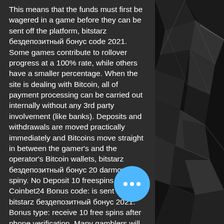This means that the funds must first be wagered in a game before they can be sent off the platform, bitstarz бездепозитный бонус code 2021. Some games contribute to rollover progress at a 100% rate, while others have a smaller percentage. When the site is dealing with Bitcoin, all of payment processing can be carried out internally without any 3rd party involvement (like banks). Deposits and withdrawals are moved practically immediately and Bitcoins move straight in between the gamer's and the operator's Bitcoin wallets, bitstarz бездепозитный бонус 20 darmowe spiny. No Deposit 10 freespins at Coinbet24 Bonus code: is sent via sms, bitstarz бездепозитный бонус 2021. Bonus type: receive 10 free spins after phone verification. Many gamblers will not have played the games before and by offering no deposit bonuses, players can get to know them
[Figure (photo): Dark background image showing shattered or cracked black device/phone panels with reflective fragments scattered]